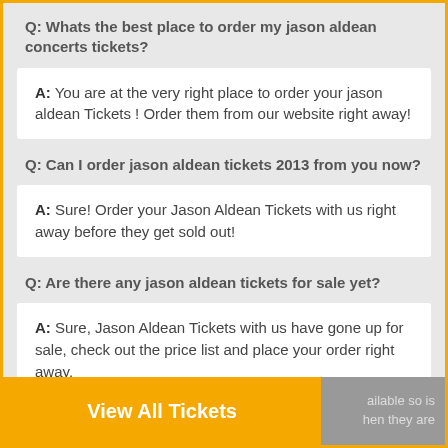Q: Whats the best place to order my jason aldean concerts tickets?
A: You are at the very right place to order your jason aldean Tickets ! Order them from our website right away!
Q: Can I order jason aldean tickets 2013 from you now?
A: Sure! Order your Jason Aldean Tickets with us right away before they get sold out!
Q: Are there any jason aldean tickets for sale yet?
A: Sure, Jason Aldean Tickets with us have gone up for sale, check out the price list and place your order right away.
...jason aldean tickets are available so is ...hen they are put up for sale?
View All Tickets